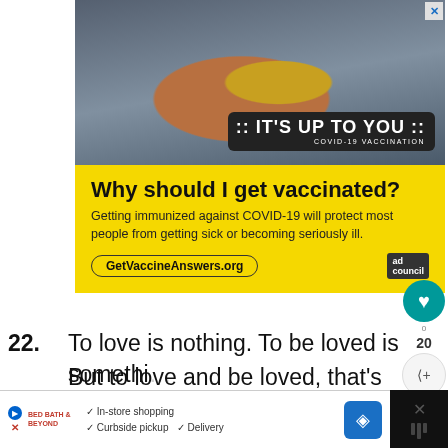[Figure (photo): Advertisement banner showing a construction worker in a hard hat with text 'IT'S UP TO YOU - COVID-19 VACCINATION' on a dark badge, yellow background with text 'Why should I get vaccinated? Getting immunized against COVID-19 will protect most people from getting sick or becoming seriously ill.' and URL 'GetVaccineAnswers.org' with Ad Council logo]
22.  To love is nothing. To be loved is something. But to love and be loved, that's everything.
~ T. Tolis
23.  I could make you happy, make your dreams
[Figure (screenshot): Bottom advertisement bar showing store options: In-store shopping, Curbside pickup, Delivery with navigation icon]